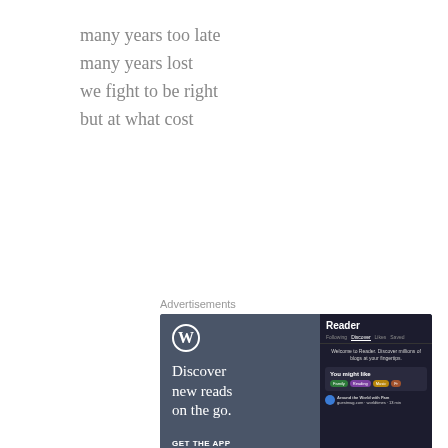many years too late
many years lost
we fight to be right
but at what cost
Advertisements
[Figure (screenshot): WordPress.com advertisement banner showing 'Discover new reads on the go.' with WordPress logo and Reader app UI screenshot. GET THE APP call to action.]
REPORT THIS AD